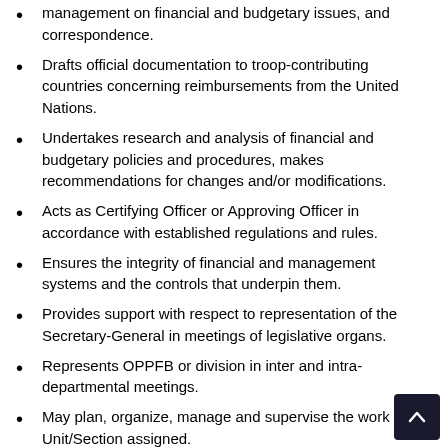management on financial and budgetary issues, and correspondence.
Drafts official documentation to troop-contributing countries concerning reimbursements from the United Nations.
Undertakes research and analysis of financial and budgetary policies and procedures, makes recommendations for changes and/or modifications.
Acts as Certifying Officer or Approving Officer in accordance with established regulations and rules.
Ensures the integrity of financial and management systems and the controls that underpin them.
Provides support with respect to representation of the Secretary-General in meetings of legislative organs.
Represents OPPFB or division in inter and intra-departmental meetings.
May plan, organize, manage and supervise the work of the Unit/Section assigned.
Incumbents may be asked to perform other related